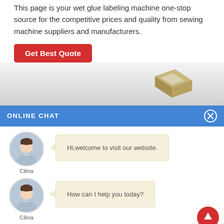This page is your wet glue labeling machine one-stop source for the competitive prices and quality from sewing machine suppliers and manufacturers.
Get Best Quote
[Figure (illustration): Gray gradient background with a 3D box/labeling machine illustration in bottom right]
ONLINE CHAT
Hi,welcome to visit our website.
How can I help you today?